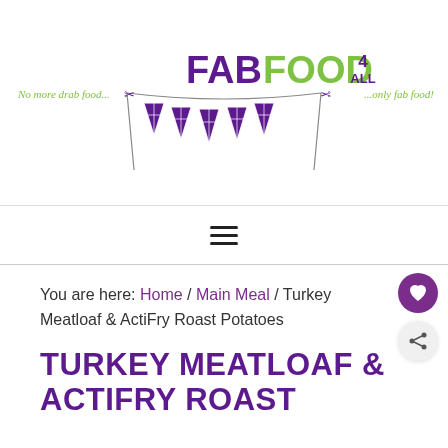FabFood 4 All — No more drab food... ...only fab food!
[Figure (logo): FabFood4All logo with bunting flags in purple Union Jack design and green italic taglines on both sides]
≡
You are here: Home / Main Meal / Turkey Meatloaf & ActiFry Roast Potatoes
TURKEY MEATLOAF & ACTIFRY ROAST